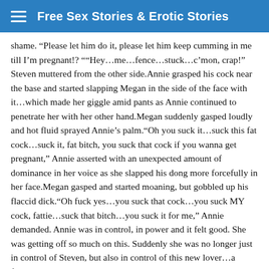Free Sex Stories & Erotic Stories
shame. â€œPlease let him do it, please let him keep cumming in me till Iâ€™m pregnant!? â€œâ€œHeyâ€¦meâ€¦fenceâ€¦stuckâ€¦câ€™mon, crap!â€ Steven muttered from the other side.Annie grasped his cock near the base and started slapping Megan in the side of the face with itâ€¦which made her giggle amid pants as Annie continued to penetrate her with her other hand.Megan suddenly gasped loudly and hot fluid sprayed Annieâ€™s palm.â€œOh you suck itâ€¦suck this fat cockâ€¦suck it, fat bitch, you suck that cock if you wanna get pregnant,â€ Annie asserted with an unexpected amount of dominance in her voice as she slapped his dong more forcefully in her face.Megan gasped and started moaning, but gobbled up his flaccid dick.â€œOh fuck yesâ€¦you suck that cockâ€¦you suck MY cock, fattieâ€¦suck that bitchâ€¦you suck it for me,â€ Annie demanded. Annie was in control, in power and it felt good. She was getting off so much on this. Suddenly she was no longer just in control of Steven, but also in control of this new loverâ€¦a female loverâ€¦something that was